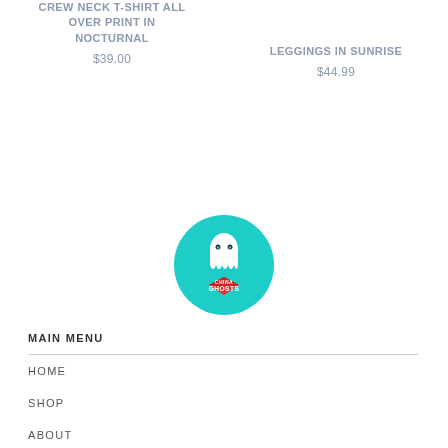CREW NECK T-SHIRT ALL OVER PRINT IN NOCTURNAL
$39.00
LEGGINGS IN SUNRISE
$44.99
[Figure (logo): Circular teal logo with a white ghost figure and red diamond shape with text CHINA GHOSTS]
MAIN MENU
HOME
SHOP
ABOUT
CONTACT